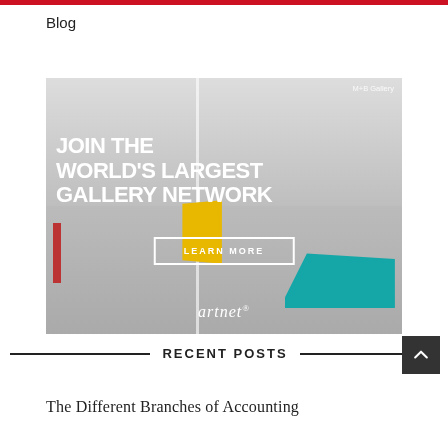Blog
[Figure (illustration): Artnet advertisement showing a gallery interior with colorful sculptures, text 'JOIN THE WORLD'S LARGEST GALLERY NETWORK' with a 'LEARN MORE' button and artnet logo. Credit: M+B Gallery.]
RECENT POSTS
The Different Branches of Accounting